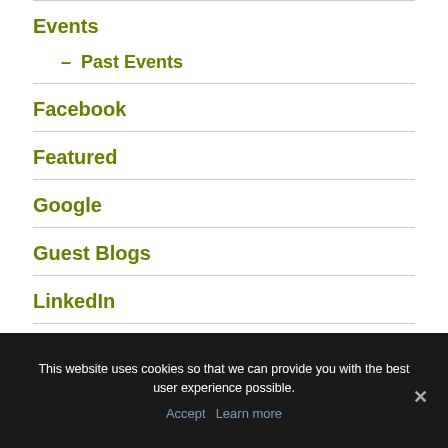Events
– Past Events
Facebook
Featured
Google
Guest Blogs
LinkedIn
Networking
This website uses cookies so that we can provide you with the best user experience possible.
Accept  Learn more